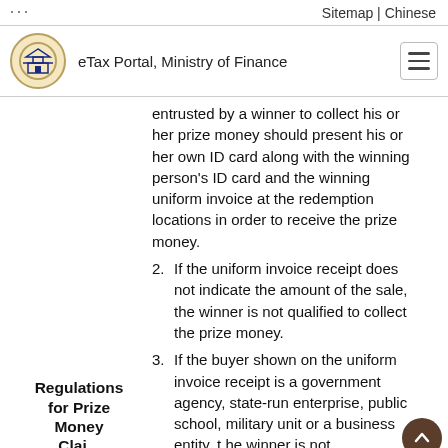... Sitemap | Chinese
eTax Portal, Ministry of Finance
entrusted by a winner to collect his or her prize money should present his or her own ID card along with the winning person's ID card and the winning uniform invoice at the redemption locations in order to receive the prize money.
2. If the uniform invoice receipt does not indicate the amount of the sale, the winner is not qualified to collect the prize money.
3. If the buyer shown on the uniform invoice receipt is a government agency, state-run enterprise, public school, military unit or a business entity, t he winner is not
Regulations for Prize Money Clai...